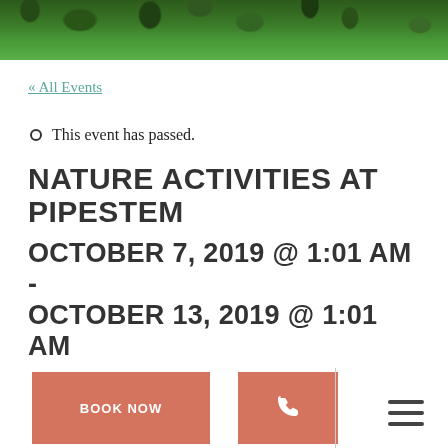[Figure (photo): Header photograph of dense green vegetation and wildflowers at the top of the page]
« All Events
This event has passed.
NATURE ACTIVITIES AT PIPESTEM
OCTOBER 7, 2019 @ 1:01 AM - OCTOBER 13, 2019 @ 1:01 AM
BOOK NOW
[Figure (other): Phone icon button]
[Figure (other): Hamburger menu icon]